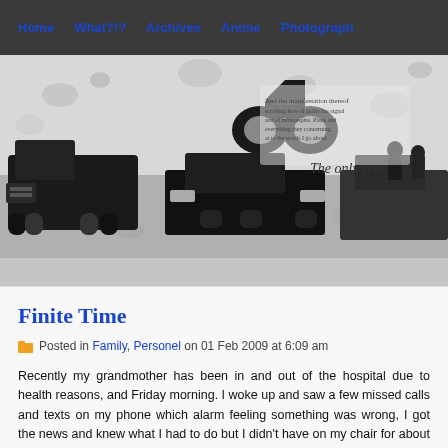Home  What?!?  Archives  Anime  Photography
[Figure (illustration): Black and white banner image showing vehicles including a large pickup truck, cars, and a motorcycle with splatter art style background. Text reads 'The only reas...' partially visible on the right.]
Finite Time
Posted in Family, Personel on 01 Feb 2009 at 6:09 am
Recently my grandmother has been in and out of the hospital due to health reasons, and Friday morning. I woke up and saw a few missed calls and texts on my phone which alarm feeling something was wrong, I got the news and knew what I had to do but I didn't have on my chair for about an hour not really doing anything but thinking.